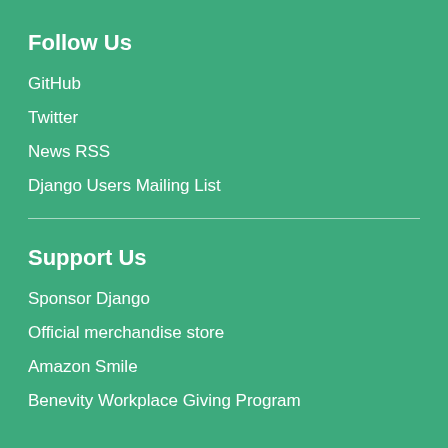Follow Us
GitHub
Twitter
News RSS
Django Users Mailing List
Support Us
Sponsor Django
Official merchandise store
Amazon Smile
Benevity Workplace Giving Program